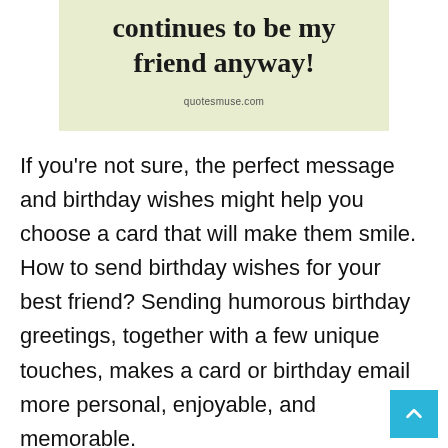[Figure (illustration): A light green/yellow quote card showing the text 'continues to be my friend anyway!' in bold serif font, with 'quotesmuse.com' watermark at the bottom.]
If you're not sure, the perfect message and birthday wishes might help you choose a card that will make them smile. How to send birthday wishes for your best friend? Sending humorous birthday greetings, together with a few unique touches, makes a card or birthday email more personal, enjoyable, and memorable.